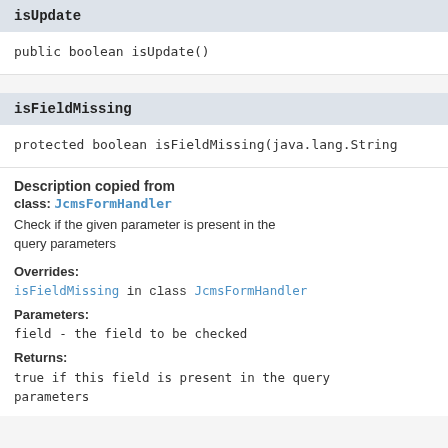isUpdate
public boolean isUpdate()
isFieldMissing
protected boolean isFieldMissing(java.lang.String
Description copied from
class: JcmsFormHandler
Check if the given parameter is present in the query parameters
Overrides:
isFieldMissing in class JcmsFormHandler
Parameters:
field - the field to be checked
Returns:
true if this field is present in the query parameters